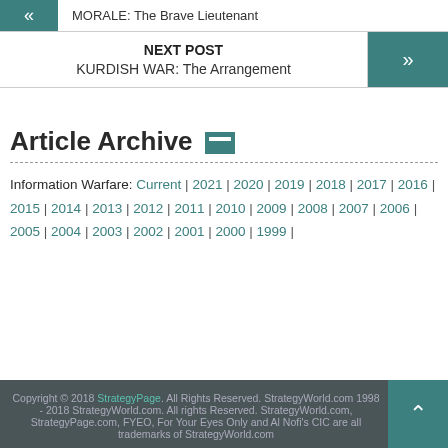« MORALE: The Brave Lieutenant
NEXT POST
KURDISH WAR: The Arrangement
Article Archive
Information Warfare: Current | 2021 | 2020 | 2019 | 2018 | 2017 | 2016 | 2015 | 2014 | 2013 | 2012 | 2011 | 2010 | 2009 | 2008 | 2007 | 2006 | 2005 | 2004 | 2003 | 2002 | 2001 | 2000 | 1999 |
Copyright © 2018 StrategyPage. All Rights Reserved. StrategyWorld.com 1998 - 2018 StrategyWorld.com. All rights Reserved. StrategyWorld.com, StrategyPage.com, FYEO, For Your Eyes Only and Al Nofi's CIC are all trademarks of StrategyWorld.com